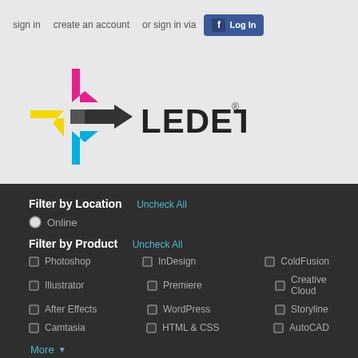sign in   create an account   or sign in via  [f] Log In
[Figure (logo): Ledet Training logo with colorful star/arrows icon and LEDET text]
Filter by Location  Uncheck All
Online
Filter by Product  Uncheck All
Photoshop
InDesign
ColdFusion
Illustrator
Premiere
Creative Cloud
After Effects
WordPress
Storyline
Camtasia
HTML & CSS
AutoCAD
More ▾
Currently searching for: classes at Atlanta Headquarters
Can't find a class on the date you want? Request a date.